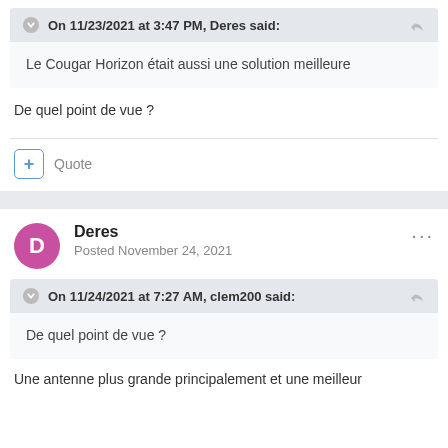On 11/23/2021 at 3:47 PM, Deres said:
Le Cougar Horizon était aussi une solution meilleure
De quel point de vue ?
Quote
Deres
Posted November 24, 2021
On 11/24/2021 at 7:27 AM, clem200 said:
De quel point de vue ?
Une antenne plus grande principalement et une meilleur